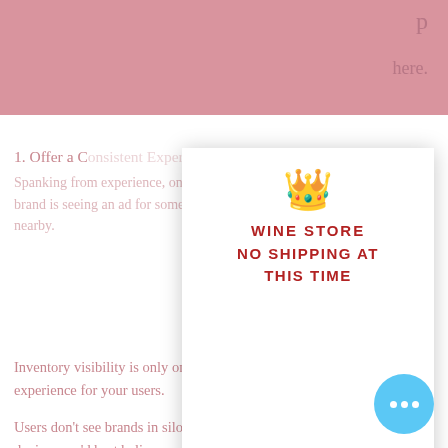[Figure (screenshot): Pink header bar at top of page with partial text 'p' and 'here.' visible]
1. Offer a Consistent Experience
Spanking from experience, one of the most frustrating encounters with a brand is seeing an ad for something that's either sold out or not available nearby.
[Figure (infographic): White popup/modal box with gold crown emoji at top, red bold uppercase text reading: WINE STORE / NO SHIPPING AT / THIS TIME]
Inventory visibility is only one facet of delivering a consistent experience for your users.
Users don't see brands in silos. If you're offering something on one device, you'd best believe your users expect to see it on every device.
Orchestrating omnichannel Colombia Phone Numbers List campaigns allows users to decide how they wish to engage with your brand — establishing trust and recognition that stays users beyond the holidays.